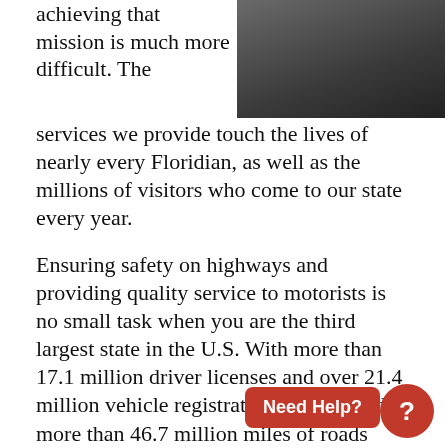achieving that mission is much more difficult. The services we provide touch the lives of nearly every Floridian, as well as the millions of visitors who come to our state every year.
[Figure (photo): Partial photo of a person in dark clothing, cropped at top-right of page]
Ensuring safety on highways and providing quality service to motorists is no small task when you are the third largest state in the U.S. With more than 17.1 million driver licenses and over 21.4 million vehicle registrations issued, and more than 46.7 million miles of roads patrolled by troopers each year, the job of FLHSMV may seem daunting, but it's a challenge our employees gladly accept every day.
That challenge is ever-changing from proactively protecting our roadways, enhancing online services for motorists, improving customer